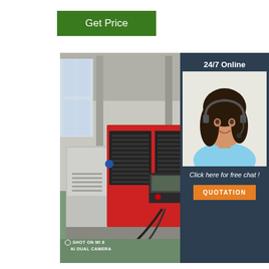Get Price
[Figure (photo): CNC machine/lathe in an industrial factory setting with green floor, red and grey machine body with control panel. Shot on Mi 8 AI Dual Camera watermark at bottom left.]
24/7 Online
[Figure (photo): Customer service agent woman with headset smiling, wearing light blue shirt, dark hair]
Click here for free chat !
QUOTATION
SHOT ON MI 8
AI DUAL CAMERA